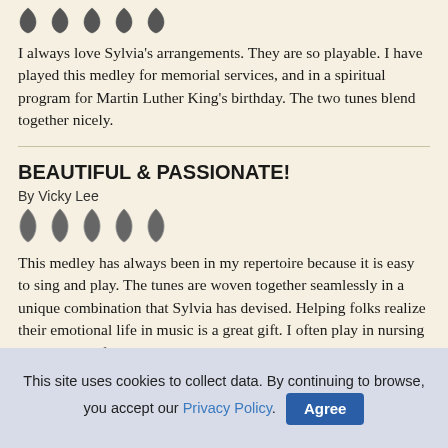[Figure (other): Five harp pick / star rating icons (filled/dark) at top of page]
I always love Sylvia's arrangements. They are so playable. I have played this medley for memorial services, and in a spiritual program for Martin Luther King's birthday. The two tunes blend together nicely.
BEAUTIFUL & PASSIONATE!
By Vicky Lee
[Figure (other): Five harp pick / star rating icons for second review]
This medley has always been in my repertoire because it is easy to sing and play. The tunes are woven together seamlessly in a unique combination that Sylvia has devised. Helping folks realize their emotional life in music is a great gift. I often play in nursing homes, and life there is not always "sunny and bright." This piece offers opportunity for
This site uses cookies to collect data. By continuing to browse, you accept our Privacy Policy.  Agree